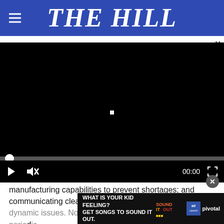THE HILL
[Figure (screenshot): Video player with black screen, progress bar, play button, mute button, timestamp 00:00, and fullscreen button]
manufacturing capabilities to prevent shortages; and communicating clearly with the public about these dynamic issues. Now is not the time for pre-arranged periodic ... er critical public health agencies.
[Figure (photo): Ad banner: WHAT IS YOUR KID FEELING? GET SONGS TO SOUND IT OUT. Sound It Out ad council pivotal]